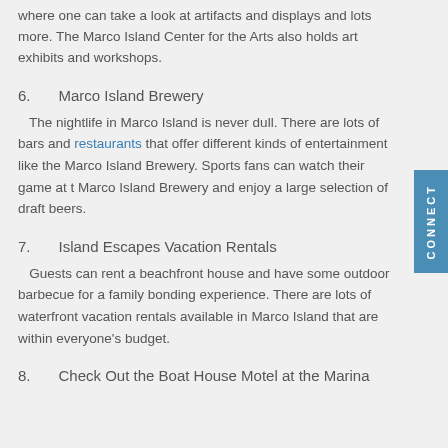where one can take a look at artifacts and displays and lots more. The Marco Island Center for the Arts also holds art exhibits and workshops.
6.   Marco Island Brewery
The nightlife in Marco Island is never dull. There are lots of bars and restaurants that offer different kinds of entertainment like the Marco Island Brewery. Sports fans can watch their game at the Marco Island Brewery and enjoy a large selection of draft beers.
7.   Island Escapes Vacation Rentals
Guests can rent a beachfront house and have some outdoor barbecue for a family bonding experience. There are lots of waterfront vacation rentals available in Marco Island that are within everyone's budget.
8.   Check Out the Boat House Motel at the Marina